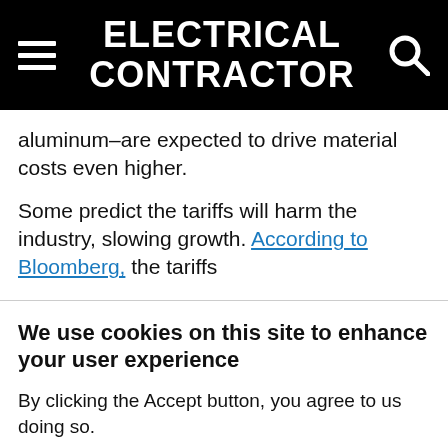ELECTRICAL CONTRACTOR
aluminum–are expected to drive material costs even higher.
Some predict the tariffs will harm the industry, slowing growth. According to Bloomberg, the tariffs
We use cookies on this site to enhance your user experience
By clicking the Accept button, you agree to us doing so.
Accept   No, thanks